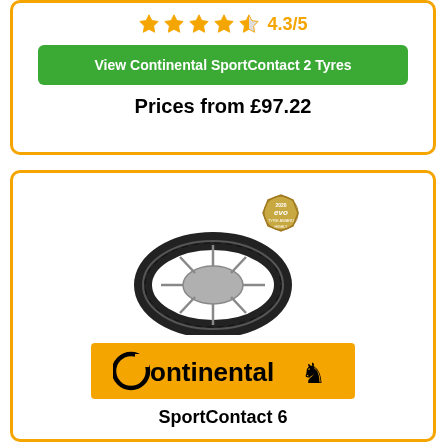[Figure (other): Star rating showing 4.3/5 with 4 filled stars and 1 half star in orange]
View Continental SportContact 2 Tyres
Prices from £97.22
[Figure (photo): Continental SportContact 6 tyre with evo Tyre Award 2020 Highly Commended badge]
[Figure (logo): Continental logo on orange background with horse icon]
SportContact 6